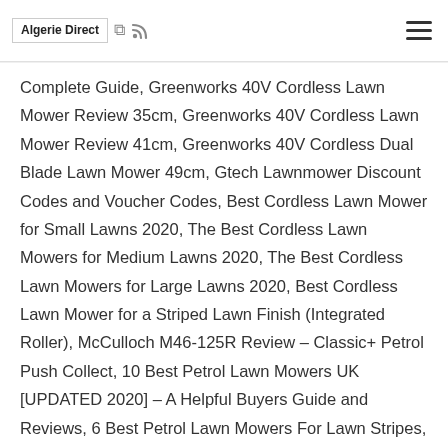Algerie Direct
Complete Guide, Greenworks 40V Cordless Lawn Mower Review 35cm, Greenworks 40V Cordless Lawn Mower Review 41cm, Greenworks 40V Cordless Dual Blade Lawn Mower 49cm, Gtech Lawnmower Discount Codes and Voucher Codes, Best Cordless Lawn Mower for Small Lawns 2020, The Best Cordless Lawn Mowers for Medium Lawns 2020, The Best Cordless Lawn Mowers for Large Lawns 2020, Best Cordless Lawn Mower for a Striped Lawn Finish (Integrated Roller), McCulloch M46-125R Review – Classic+ Petrol Push Collect, 10 Best Petrol Lawn Mowers UK [UPDATED 2020] – A Helpful Buyers Guide and Reviews, 6 Best Petrol Lawn Mowers For Lawn Stripes, Best Self Propelled Petrol Lawn Mowers UK 2020, 10 Simple Steps to Maintaining Your Petrol Lawn Mower, Gtech Cordless Grass Trimmer GT 20